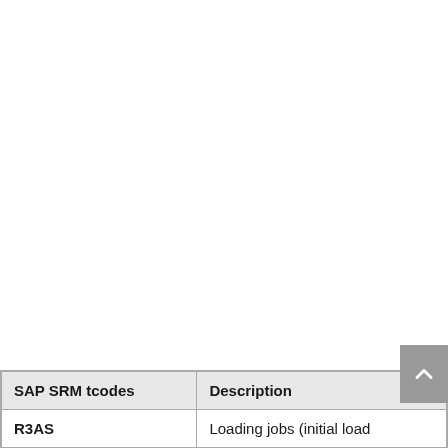| SAP SRM tcodes | Description |
| --- | --- |
| R3AS | Loading jobs (initial load |